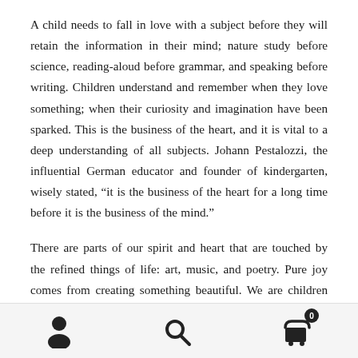A child needs to fall in love with a subject before they will retain the information in their mind; nature study before science, reading-aloud before grammar, and speaking before writing. Children understand and remember when they love something; when their curiosity and imagination have been sparked. This is the business of the heart, and it is vital to a deep understanding of all subjects. Johann Pestalozzi, the influential German educator and founder of kindergarten, wisely stated, “it is the business of the heart for a long time before it is the business of the mind.”
There are parts of our spirit and heart that are touched by the refined things of life: art, music, and poetry. Pure joy comes from creating something beautiful. We are children of a Heavenly King; the desire to create is in our nature. Education
[Figure (other): App navigation footer bar with three icons: person/user icon on the left, search/magnifying glass icon in the center, and a shopping cart icon with a badge showing '0' on the right.]